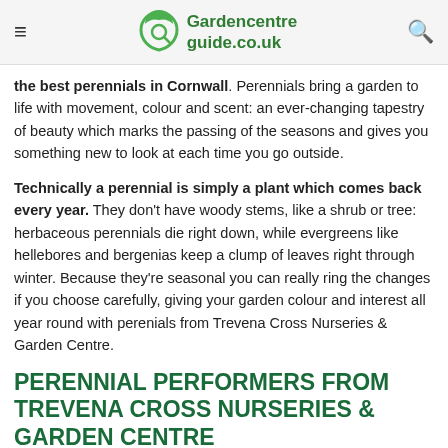Gardencentreguide.co.uk
the best perennials in Cornwall. Perennials bring a garden to life with movement, colour and scent: an ever-changing tapestry of beauty which marks the passing of the seasons and gives you something new to look at each time you go outside.
Technically a perennial is simply a plant which comes back every year. They don't have woody stems, like a shrub or tree: herbaceous perennials die right down, while evergreens like hellebores and bergenias keep a clump of leaves right through winter. Because they're seasonal you can really ring the changes if you choose carefully, giving your garden colour and interest all year round with perenials from Trevena Cross Nurseries & Garden Centre.
PERENNIAL PERFORMERS FROM TREVENA CROSS NURSERIES & GARDEN CENTRE
Perennials are the mainstay of the plant benches at Trevena Cross